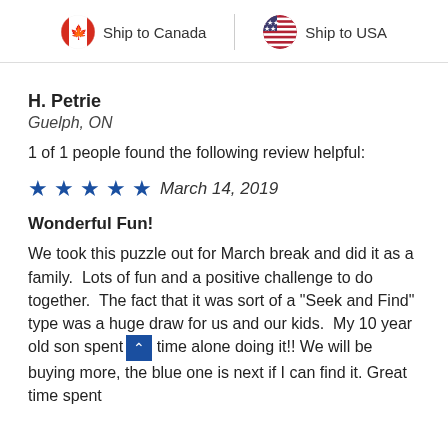Ship to Canada | Ship to USA
H. Petrie
Guelph, ON
1 of 1 people found the following review helpful:
★★★★★ March 14, 2019
Wonderful Fun!
We took this puzzle out for March break and did it as a family.  Lots of fun and a positive challenge to do together.  The fact that it was sort of a "Seek and Find" type was a huge draw for us and our kids.  My 10 year old son spent time alone doing it!! We will be buying more, the blue one is next if I can find it. Great time spent